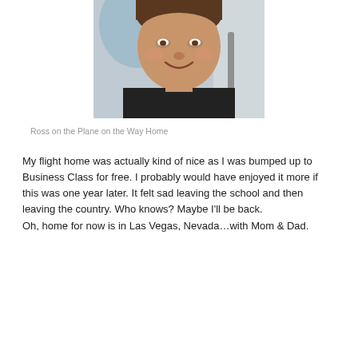[Figure (photo): A man (Ross) smiling, seated in what appears to be a business class airplane seat, wearing a dark shirt. Background shows light blue seat headrest.]
Ross on the Plane on the Way Home
My flight home was actually kind of nice as I was bumped up to Business Class for free. I probably would have enjoyed it more if this was one year later. It felt sad leaving the school and then leaving the country. Who knows? Maybe I'll be back.
Oh, home for now is in Las Vegas, Nevada…with Mom & Dad.